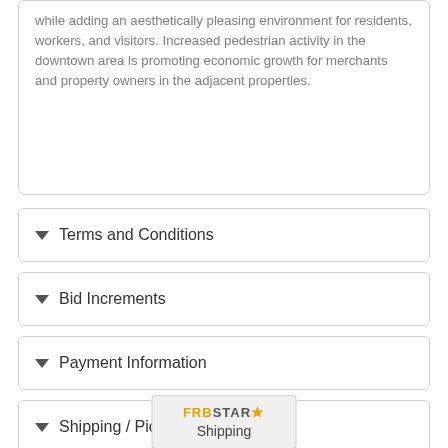while adding an aesthetically pleasing environment for residents, workers, and visitors. Increased pedestrian activity in the downtown area is promoting economic growth for merchants and property owners in the adjacent properties.
Terms and Conditions
Bid Increments
Payment Information
Shipping / Pick Up
[Figure (logo): FRBSTAR logo with star icon and 'Shipping' text below]